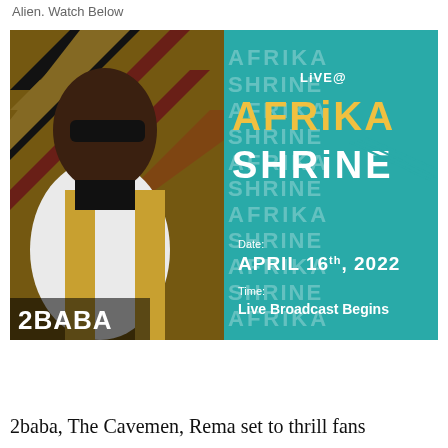Alien. Watch Below
[Figure (photo): Event promotional poster for 2Baba Live at Afrika Shrine. Left half shows 2Baba wearing sunglasses and a white and gold embellished jacket against a warm geometric African-patterned background. Right half has a teal background with repeated ghost text 'AFRIKA SHRINE', bold gold text 'LIVE@ AFRIKA SHRINE', date 'APRIL 16th, 2022', and 'Time: Live Broadcast Begins'. Artist name '2BABA' displayed at bottom left.]
2baba, The Cavemen, Rema set to thrill fans